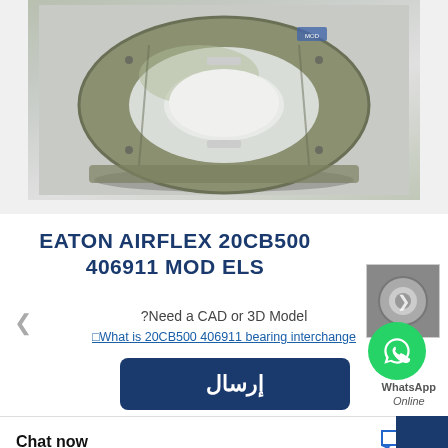[Figure (photo): Eaton Airflex 20CB500 406911 clutch/brake component - ring-shaped industrial part with green/metallic finish, shown from front angle on gray background]
EATON AIRFLEX 20CB500 406911 MOD ELS
?Need a CAD or 3D Model
[]What is 20CB500 406911 bearing interchange
إرسال
Chat now